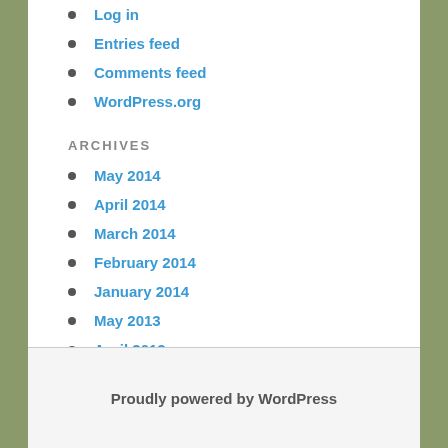Log in
Entries feed
Comments feed
WordPress.org
ARCHIVES
May 2014
April 2014
March 2014
February 2014
January 2014
May 2013
April 2013
March 2013
February 2013
Proudly powered by WordPress